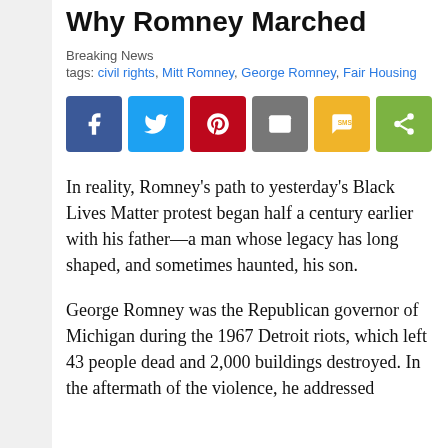Why Romney Marched
Breaking News
tags: civil rights, Mitt Romney, George Romney, Fair Housing
[Figure (infographic): Six social share buttons: Facebook (blue), Twitter (light blue), Pinterest (red), Email (grey), SMS (yellow), Share (green)]
In reality, Romney’s path to yesterday’s Black Lives Matter protest began half a century earlier with his father—a man whose legacy has long shaped, and sometimes haunted, his son.
George Romney was the Republican governor of Michigan during the 1967 Detroit riots, which left 43 people dead and 2,000 buildings destroyed. In the aftermath of the violence, he addressed